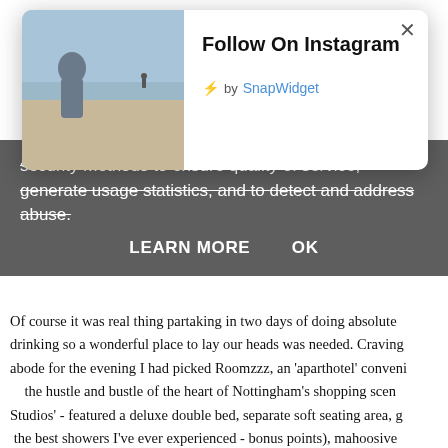[Figure (screenshot): Instagram modal popup showing 'Follow On Instagram' heading with a photo of a person on a beach on the left, a lightning bolt SnapWidget branding, and a close (×) button. Overlaid on a webpage with a cookie consent banner.]
⚡ by SnapWidget
security methods to ensure quality of service, generate usage statistics, and to detect and address abuse.
LEARN MORE   OK
Of course it was real thing partaking in two days of doing absolute drinking so a wonderful place to lay our heads was needed. Craving abode for the evening I had picked Roomzzz, an 'aparthotel' conveni the hustle and bustle of the heart of Nottingham's shopping scen Studios' - featured a deluxe double bed, separate soft seating area, g the best showers I've ever experienced - bonus points), mahoosive featuring all the mod-cons you have at home. One of the things I ad they offer a 'Grab & Go' complimentary breakfast of a morning. Truth in time to grab any of those treats (it's all shut up at 10am you se honestly, I can't fault Roomzzz. It made a rather excellent change fr away from home that suited us perfectly. The size of the room w immaculately laid-out with great features that screamed luxury. there again and I know they're going to be top of my list for booki